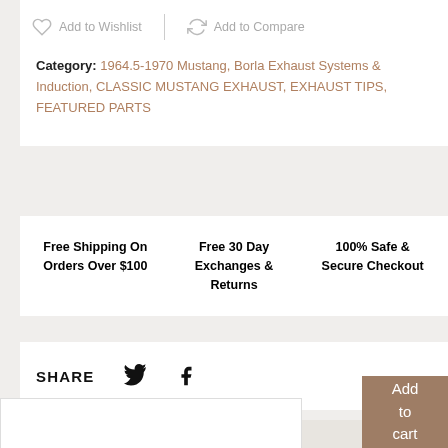Add to Wishlist | Add to Compare
Category: 1964.5-1970 Mustang, Borla Exhaust Systems & Induction, CLASSIC MUSTANG EXHAUST, EXHAUST TIPS, FEATURED PARTS
Free Shipping On Orders Over $100
Free 30 Day Exchanges & Returns
100% Safe & Secure Checkout
SHARE
Add to cart